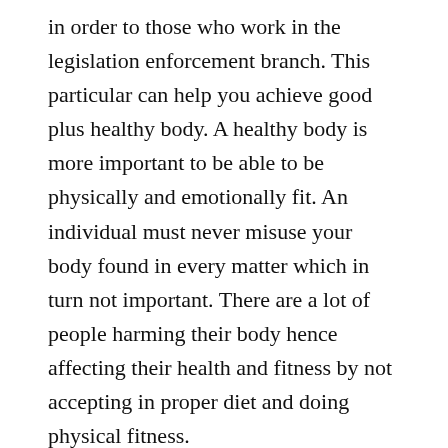in order to those who work in the legislation enforcement branch. This particular can help you achieve good plus healthy body. A healthy body is more important to be able to be physically and emotionally fit. An individual must never misuse your body found in every matter which in turn not important. There are a lot of people harming their body hence affecting their health and fitness by not accepting in proper diet and doing physical fitness.
Health is highly important, thus you should get involve in virtually any health and fitness in law enforcement. Attending typically the program will keep on your body healthy and make you go the physical examinations every time. Healthy body is quite important for you to